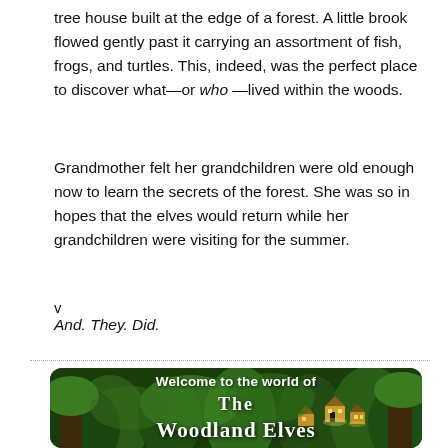tree house built at the edge of a forest. A little brook flowed gently past it carrying an assortment of fish, frogs, and turtles. This, indeed, was the perfect place to discover what—or who—lived within the woods.
Grandmother felt her grandchildren were old enough now to learn the secrets of the forest. She was so in hopes that the elves would return while her grandchildren were visiting for the summer.
v
And. They. Did.
[Figure (illustration): Book cover image with forest background showing illuminated tree houses and text: 'Welcome to the world of The Woodland Elves']